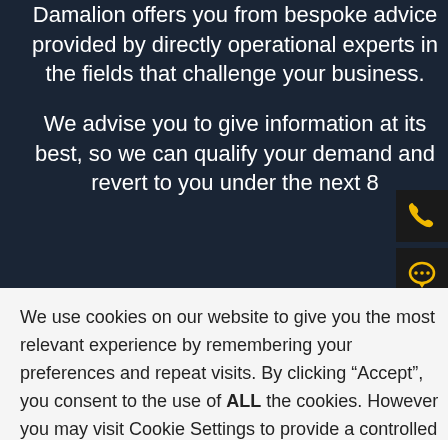Damalion offers you from bespoke advice provided by directly operational experts in the fields that challenge your business.
We advise you to give information at its best, so we can qualify your demand and revert to you under the next 8
We use cookies on our website to give you the most relevant experience by remembering your preferences and repeat visits. By clicking “Accept”, you consent to the use of ALL the cookies. However you may visit Cookie Settings to provide a controlled consent.
Cookie settings
ACCEPT